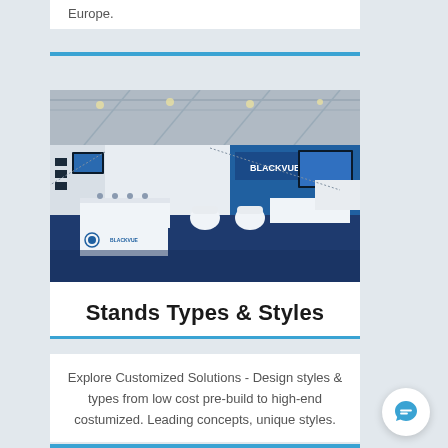Europe.
[Figure (photo): Exhibition stand photo showing BlackVue branded trade show booth with white furniture, displays, and blue carpet flooring inside a large convention hall.]
Stands Types & Styles
Explore Customized Solutions - Design styles & types from low cost pre-build to high-end costumized. Leading concepts, unique styles.